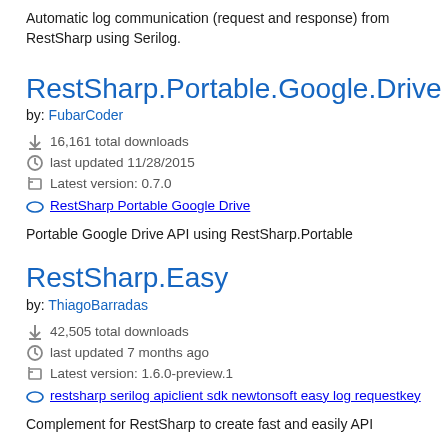Automatic log communication (request and response) from RestSharp using Serilog.
RestSharp.Portable.Google.Drive
by: FubarCoder
16,161 total downloads
last updated 11/28/2015
Latest version: 0.7.0
RestSharp Portable Google Drive
Portable Google Drive API using RestSharp.Portable
RestSharp.Easy
by: ThiagoBarradas
42,505 total downloads
last updated 7 months ago
Latest version: 1.6.0-preview.1
restsharp serilog apiclient sdk newtonsoft easy log requestkey
Complement for RestSharp to create fast and easily API